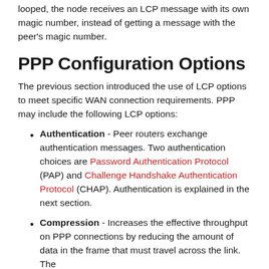looped, the node receives an LCP message with its own magic number, instead of getting a message with the peer's magic number.
PPP Configuration Options
The previous section introduced the use of LCP options to meet specific WAN connection requirements. PPP may include the following LCP options:
Authentication - Peer routers exchange authentication messages. Two authentication choices are Password Authentication Protocol (PAP) and Challenge Handshake Authentication Protocol (CHAP). Authentication is explained in the next section.
Compression - Increases the effective throughput on PPP connections by reducing the amount of data in the frame that must travel across the link. The